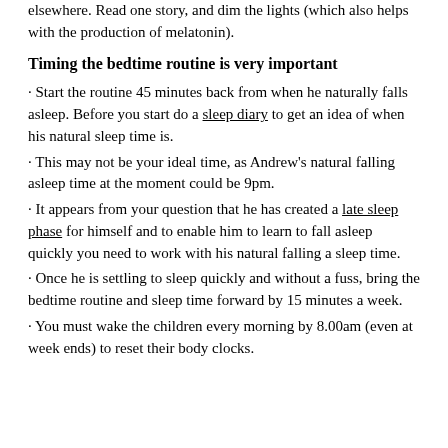elsewhere. Read one story, and dim the lights (which also helps with the production of melatonin).
Timing the bedtime routine is very important
· Start the routine 45 minutes back from when he naturally falls asleep. Before you start do a sleep diary to get an idea of when his natural sleep time is.
· This may not be your ideal time, as Andrew's natural falling asleep time at the moment could be 9pm.
· It appears from your question that he has created a late sleep phase for himself and to enable him to learn to fall asleep quickly you need to work with his natural falling a sleep time.
· Once he is settling to sleep quickly and without a fuss, bring the bedtime routine and sleep time forward by 15 minutes a week.
· You must wake the children every morning by 8.00am (even at week ends) to reset their body clocks.